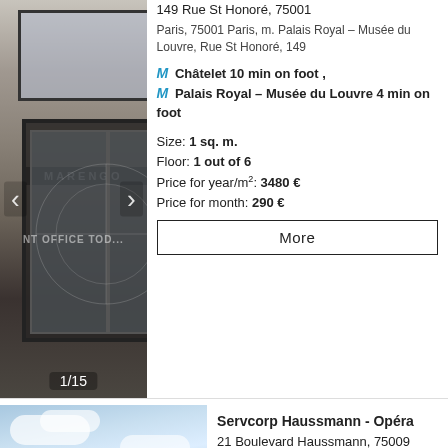[Figure (photo): Exterior building photo showing Marengo storefront with ornate glass doors, image counter 1/15, navigation arrows]
149 Rue St Honoré, 75001
Paris, 75001 Paris, m. Palais Royal – Musée du Louvre, Rue St Honoré, 149
M Châtelet 10 min on foot , M Palais Royal – Musée du Louvre 4 min on foot
Size: 1 sq. m.
Floor: 1 out of 6
Price for year/m²: 3480 €
Price for month: 290 €
More
[Figure (photo): Sky with clouds photo for Servcorp Haussmann Opéra listing]
Servcorp Haussmann - Opéra
21 Boulevard Haussmann, 75009 Paris
Paris, 75009 Paris, m.